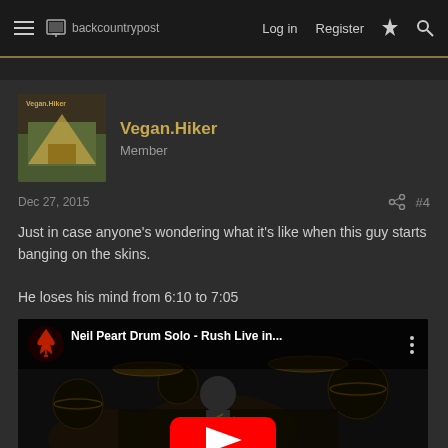backcountrypost  Log in  Register
Vegan.Hiker
Member
Dec 27, 2015  #4
Just in case anyone's wondering what it's like when this guy starts banging on the skins.

He loses his mind from 6:10 to 7:05
[Figure (screenshot): YouTube video thumbnail for 'Neil Peart Drum Solo - Rush Live in...' with red YouTube play button overlay and drummer at drum kit background]